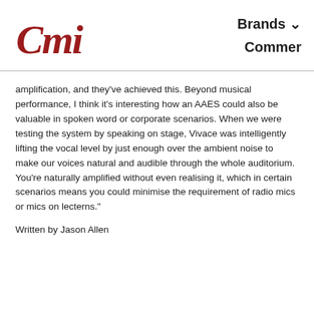[Figure (logo): CMI logo in red cursive script]
Brands ▾
Commer
amplification, and they've achieved this. Beyond musical performance, I think it's interesting how an AAES could also be valuable in spoken word or corporate scenarios. When we were testing the system by speaking on stage, Vivace was intelligently lifting the vocal level by just enough over the ambient noise to make our voices natural and audible through the whole auditorium. You're naturally amplified without even realising it, which in certain scenarios means you could minimise the requirement of radio mics or mics on lecterns."
Written by Jason Allen